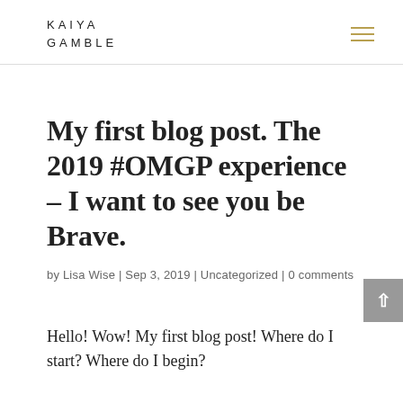KAIYA GAMBLE
My first blog post. The 2019 #OMGP experience – I want to see you be Brave.
by Lisa Wise | Sep 3, 2019 | Uncategorized | 0 comments
Hello! Wow! My first blog post! Where do I start? Where do I begin?